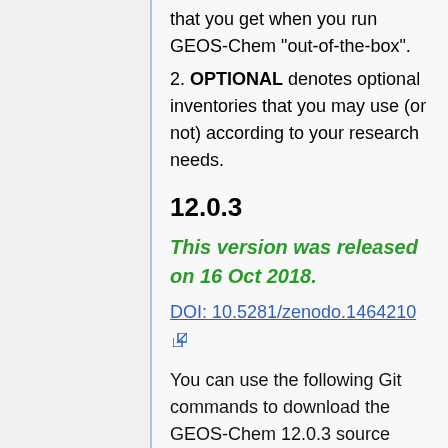that you get when you run GEOS-Chem "out-of-the-box".
2. OPTIONAL denotes optional inventories that you may use (or not) according to your research needs.
12.0.3
This version was released on 16 Oct 2018.
DOI: 10.5281/zenodo.1464210
You can use the following Git commands to download the GEOS-Chem 12.0.3 source code and GEOS-Chem Unit Tester package.
# Download the GEOS-Chem source
    git clone https://github.com/g
    cd Code.12.0.3

# Create and checkout a new b